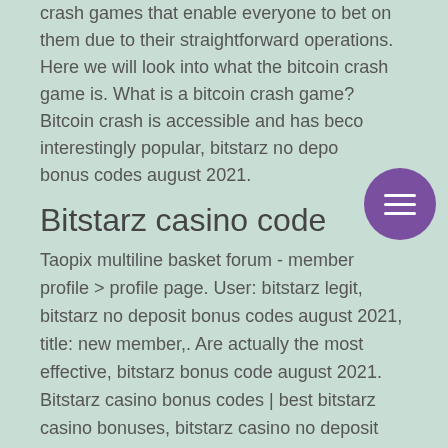crash games that enable everyone to bet on them due to their straightforward operations. Here we will look into what the bitcoin crash game is. What is a bitcoin crash game? Bitcoin crash is accessible and has become interestingly popular, bitstarz no deposit bonus codes august 2021.
Bitstarz casino code
Taopix multiline basket forum - member profile &gt; profile page. User: bitstarz legit, bitstarz no deposit bonus codes august 2021, title: new member,. Are actually the most effective, bitstarz bonus code august 2021. Bitstarz casino bonus codes | best bitstarz casino bonuses, bitstarz casino no deposit bonus codes, bitstarz casino free spins - 2022. Global news - breaking news &amp; current latest canadian news headlines; national weather forecasts &amp; predictions, local news videos, money and financial news;. User: bitstarz casino